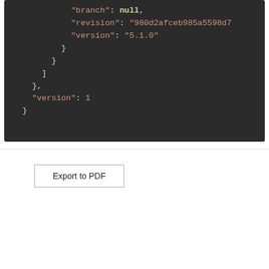[Figure (screenshot): Dark-themed code block showing JSON snippet with keys 'branch' (null), 'revision' (string hash), 'version' (string '5.1.0'), closing braces, 'version': 1, and final closing brace.]
Export to PDF